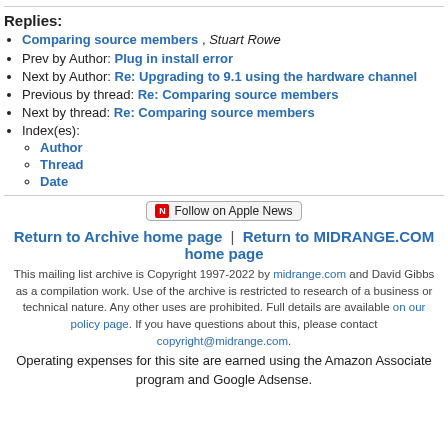Replies:
Comparing source members , Stuart Rowe
Prev by Author: Plug in install error
Next by Author: Re: Upgrading to 9.1 using the hardware channel
Previous by thread: Re: Comparing source members
Next by thread: Re: Comparing source members
Index(es):
Author
Thread
Date
[Figure (other): Follow on Apple News button]
Return to Archive home page | Return to MIDRANGE.COM home page
This mailing list archive is Copyright 1997-2022 by midrange.com and David Gibbs as a compilation work. Use of the archive is restricted to research of a business or technical nature. Any other uses are prohibited. Full details are available on our policy page. If you have questions about this, please contact copyright@midrange.com.
Operating expenses for this site are earned using the Amazon Associate program and Google Adsense.